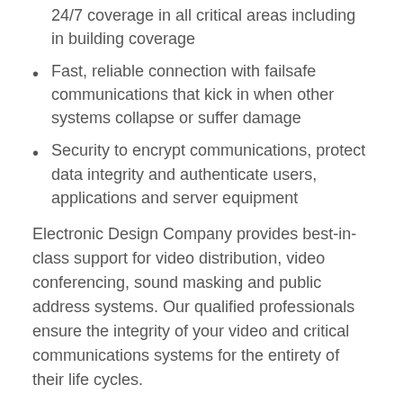24/7 coverage in all critical areas including in building coverage
Fast, reliable connection with failsafe communications that kick in when other systems collapse or suffer damage
Security to encrypt communications, protect data integrity and authenticate users, applications and server equipment
Electronic Design Company provides best-in-class support for video distribution, video conferencing, sound masking and public address systems. Our qualified professionals ensure the integrity of your video and critical communications systems for the entirety of their life cycles.
LEVERAGE YOUR MESSAGE
Emergency and public address systems are key components